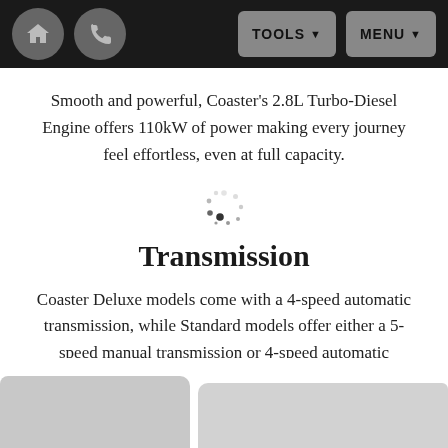HOME | PHONE | TOOLS | MENU
Smooth and powerful, Coaster's 2.8L Turbo-Diesel Engine offers 110kW of power making every journey feel effortless, even at full capacity.
[Figure (other): Loading spinner icon]
Transmission
Coaster Deluxe models come with a 4-speed automatic transmission, while Standard models offer either a 5-speed manual transmission or 4-speed automatic transmission.
[Figure (photo): Partial view of vehicle exterior, bottom of page, grayscale]